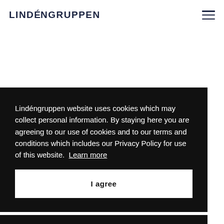LINDÉNGRUPPEN
Lindéngruppen website uses cookies which may collect personal information. By staying here you are agreeing to our use of cookies and to our terms and conditions which includes our Privacy Policy for use of this website. Learn more
I agree